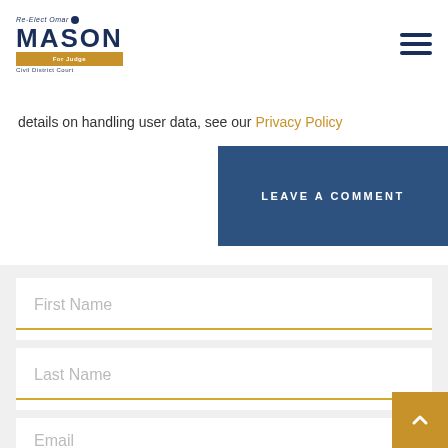Re-Elect Omar Mason - Civil District Court
details on handling user data, see our Privacy Policy
LEAVE A COMMENT
First Name
Last Name
Email